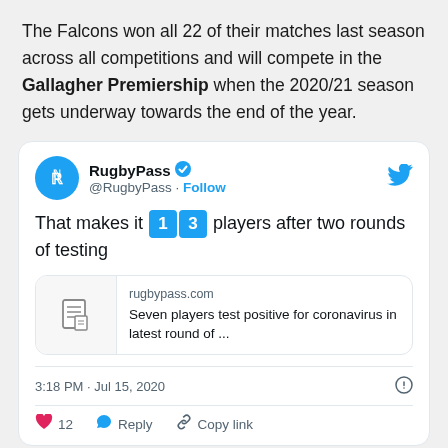The Falcons won all 22 of their matches last season across all competitions and will compete in the Gallagher Premiership when the 2020/21 season gets underway towards the end of the year.
[Figure (screenshot): Embedded tweet from @RugbyPass with verified badge. Tweet text: 'That makes it 1 3 players after two rounds of testing'. Includes a link preview card from rugbypass.com: 'Seven players test positive for coronavirus in latest round of ...'. Timestamp: 3:18 PM · Jul 15, 2020. Actions: 12 likes, Reply, Copy link.]